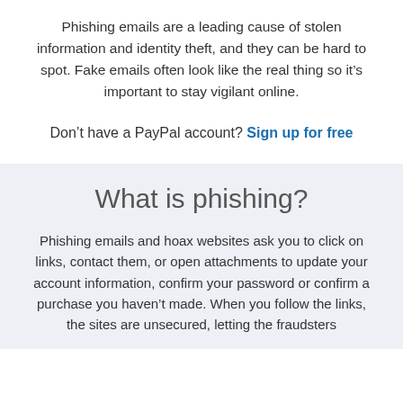Phishing emails are a leading cause of stolen information and identity theft, and they can be hard to spot. Fake emails often look like the real thing so it’s important to stay vigilant online.
Don’t have a PayPal account? Sign up for free
What is phishing?
Phishing emails and hoax websites ask you to click on links, contact them, or open attachments to update your account information, confirm your password or confirm a purchase you haven’t made. When you follow the links, the sites are unsecured, letting the fraudsters